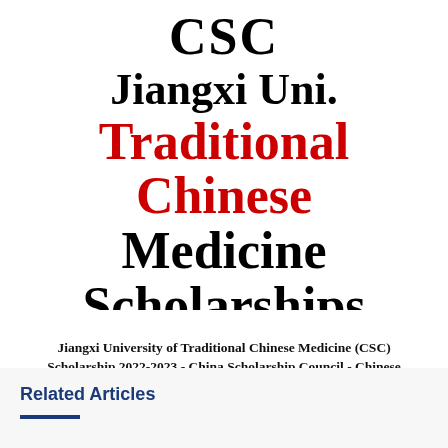[Figure (other): Decorative banner with vertical border lines on left and right. Large bold text reading: CSC / Jiangxi Uni. / Traditional Chinese / Medicine / Scholarships. 'Traditional Chinese' is in red, rest in black.]
Jiangxi University of Traditional Chinese Medicine (CSC) Scholarship 2022-2023 - China Scholarship Council - Chinese Government Scholarship
Related Articles